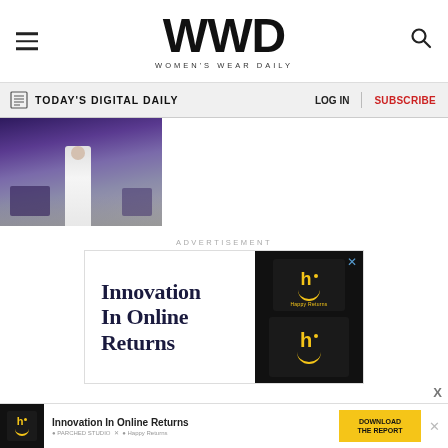WWD — WOMEN'S WEAR DAILY
TODAY'S DIGITAL DAILY | LOG IN | SUBSCRIBE
[Figure (photo): Fashion runway photo showing a model walking in white outfit on a runway with purple/dark background and audience]
ADVERTISEMENT
[Figure (other): Advertisement for Happy Returns: 'Innovation In Online Returns' with black Happy Returns boxes featuring yellow smiley faces]
[Figure (other): Bottom banner ad: 'Innovation In Online Returns' with Happy Returns logo box, PARCHED STUDIO x Happy Returns logos, and yellow 'DOWNLOAD THE REPORT' button]